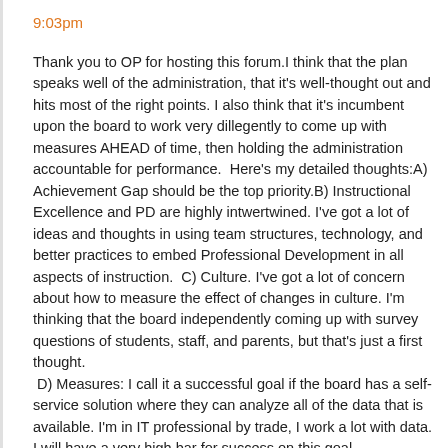9:03pm
Thank you to OP for hosting this forum.I think that the plan speaks well of the administration, that it's well-thought out and hits most of the right points. I also think that it's incumbent upon the board to work very dillegently to come up with measures AHEAD of time, then holding the administration accountable for performance.  Here's my detailed thoughts:A) Achievement Gap should be the top priority.B) Instructional Excellence and PD are highly intwertwined. I've got a lot of ideas and thoughts in using team structures, technology, and better practices to embed Professional Development in all aspects of instruction.  C) Culture. I've got a lot of concern about how to measure the effect of changes in culture. I'm thinking that the board independently coming up with survey questions of students, staff, and parents, but that's just a first thought.  D) Measures: I call it a successful goal if the board has a self-service solution where they can analyze all of the data that is available. I'm in IT professional by trade, I work a lot with data. I will have a very high bar for success on this goal.